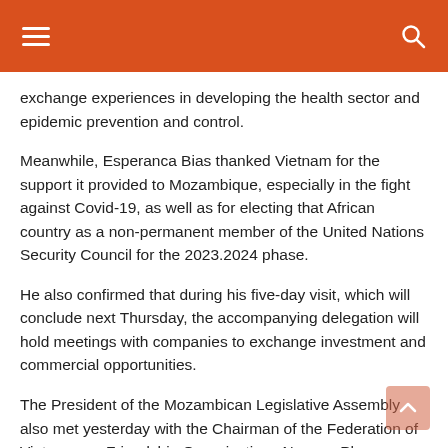Navigation header bar with hamburger menu and search icon
exchange experiences in developing the health sector and epidemic prevention and control.
Meanwhile, Esperanca Bias thanked Vietnam for the support it provided to Mozambique, especially in the fight against Covid-19, as well as for electing that African country as a non-permanent member of the United Nations Security Council for the 2023.2024 phase.
He also confirmed that during his five-day visit, which will conclude next Thursday, the accompanying delegation will hold meetings with companies to exchange investment and commercial opportunities.
The President of the Mozambican Legislative Assembly also met yesterday with the Chairman of the Federation of Vietnamese Friendship Organizations Nguyen Phuong Nga, where she discussed with him the measures to be taken to speed up exchanges between the two peoples.